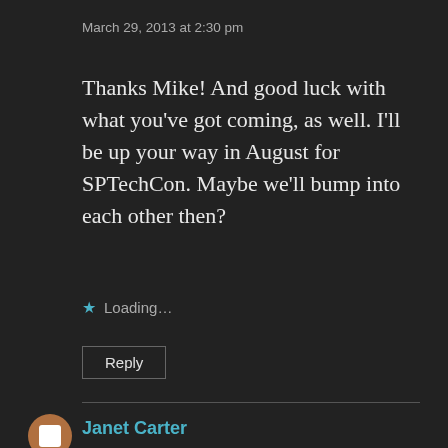March 29, 2013 at 2:30 pm
Thanks Mike! And good luck with what you've got coming, as well. I'll be up your way in August for SPTechCon. Maybe we'll bump into each other then?
Loading...
Reply
Janet Carter
March 29, 2013 at 11:14 pm
Best of luck my first twitter friend! Let me